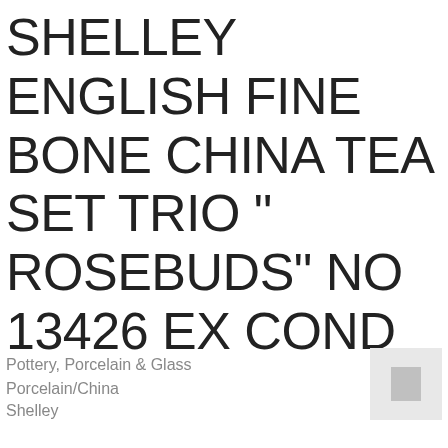SHELLEY ENGLISH FINE BONE CHINA TEA SET TRIO " ROSEBUDS" NO 13426 EX COND
Pottery, Porcelain & Glass
Porcelain/China
Shelley